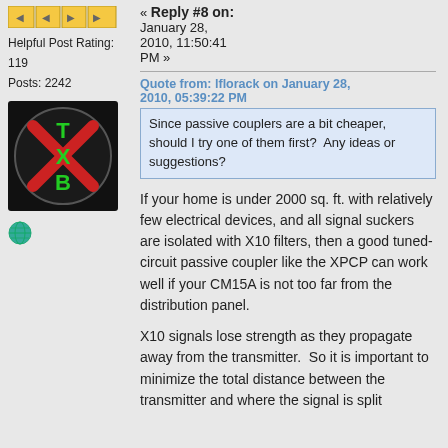[Figure (other): Yellow navigation/action buttons bar at top of left column]
Helpful Post Rating: 119
Posts: 2242
[Figure (illustration): Avatar image showing a circular logo with T, X, B letters in green/red on black background]
[Figure (illustration): Globe icon (world icon)]
« Reply #8 on: January 28, 2010, 11:50:41 PM »
Quote from: lflorack on January 28, 2010, 05:39:22 PM
Since passive couplers are a bit cheaper, should I try one of them first?  Any ideas or suggestions?
If your home is under 2000 sq. ft. with relatively few electrical devices, and all signal suckers are isolated with X10 filters, then a good tuned-circuit passive coupler like the XPCP can work well if your CM15A is not too far from the distribution panel.
X10 signals lose strength as they propagate away from the transmitter.  So it is important to minimize the total distance between the transmitter and where the signal is split